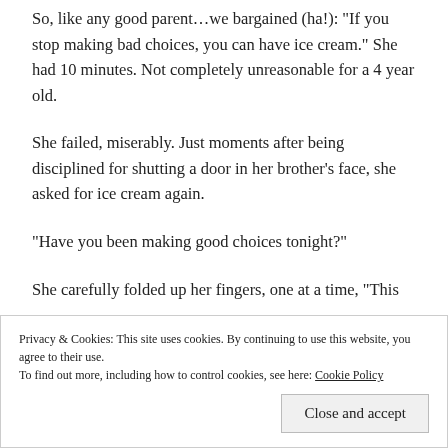So, like any good parent…we bargained (ha!): “If you stop making bad choices, you can have ice cream.” She had 10 minutes.  Not completely unreasonable for a 4 year old.
She failed, miserably.  Just moments after being disciplined for shutting a door in her brother’s face, she asked for ice cream again.
“Have you been making good choices tonight?”
She carefully folded up her fingers, one at a time, “This
Privacy & Cookies: This site uses cookies. By continuing to use this website, you agree to their use.
To find out more, including how to control cookies, see here: Cookie Policy
Close and accept